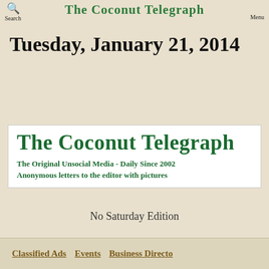Search  The Coconut Telegraph  Menu
Tuesday, January 21, 2014
[Figure (logo): The Coconut Telegraph banner logo — large green bold serif text reading 'The Coconut Telegraph', with taglines 'The Original Unsocial Media - Daily Since 2002' and 'Anonymous letters to the editor with pictures' on a white background.]
No Saturday Edition
Classified Ads   Events   Business Directory